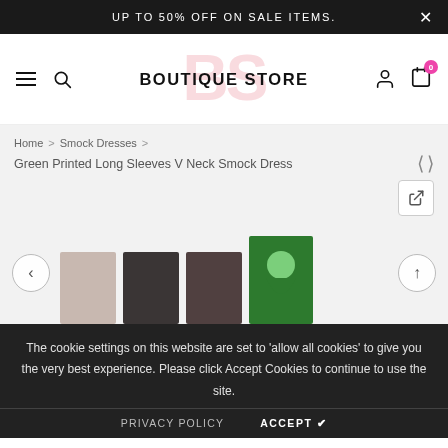UP TO 50% OFF ON SALE ITEMS.
[Figure (logo): Boutique Store logo with BS monogram in pink and bold text BOUTIQUE STORE]
Home > Smock Dresses > Green Printed Long Sleeves V Neck Smock Dress
[Figure (screenshot): Product image gallery showing smock dress thumbnails and a green dress]
The cookie settings on this website are set to 'allow all cookies' to give you the very best experience. Please click Accept Cookies to continue to use the site.
PRIVACY POLICY   ACCEPT ✔
Green Printed Long Sleeves V Neck Smock